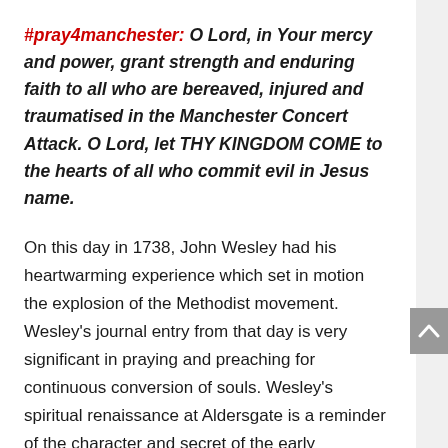#pray4manchester: O Lord, in Your mercy and power, grant strength and enduring faith to all who are bereaved, injured and traumatised in the Manchester Concert Attack. O Lord, let THY KINGDOM COME to the hearts of all who commit evil in Jesus name.
On this day in 1738, John Wesley had his heartwarming experience which set in motion the explosion of the Methodist movement. Wesley’s journal entry from that day is very significant in praying and preaching for continuous conversion of souls. Wesley’s spiritual renaissance at Aldersgate is a reminder of the character and secret of the early Methodist rapid growth including ‘its moral and spiritual fervour of the weekly class meetings to pray, read the Bible, discuss their spiritual